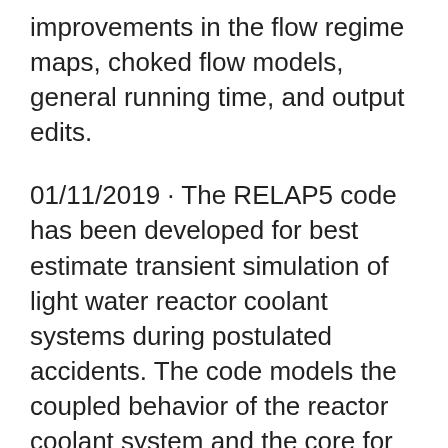improvements in the flow regime maps, choked flow models, general running time, and output edits.
01/11/2019 · The RELAP5 code has been developed for best estimate transient simulation of light water reactor coolant systems during postulated accidents. The code models the coupled behavior of the reactor coolant system and the core for loss-of-coolant accidents, and operational transients, such as anticipated transient without scram, loss of offsite power, loss of feedwater, and loss of flow. A ... RELAP5/MOD3.3 CODE MANUAL VOLUME III: DEVELOPMENTAL ASSESSMENT PROBLEMS Nuclear